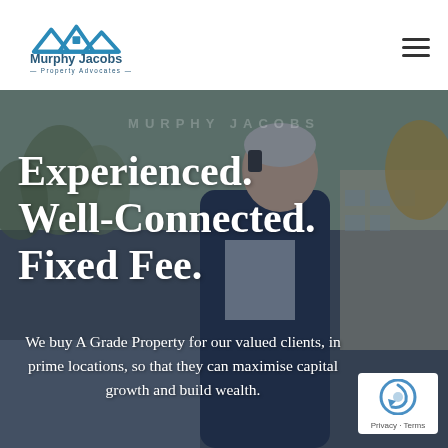[Figure (logo): Murphy Jacobs Property Advocates logo — blue rooftop/house icon above the company name]
Experienced.
Well-Connected.
Fixed Fee.
We buy A Grade Property for our valued clients, in prime locations, so that they can maximise capital growth and build wealth.
[Figure (photo): Background photo of a senior man in a dark suit talking on a mobile phone, smiling, outdoors with blurred trees and buildings]
[Figure (other): Google reCAPTCHA badge — privacy and terms links]